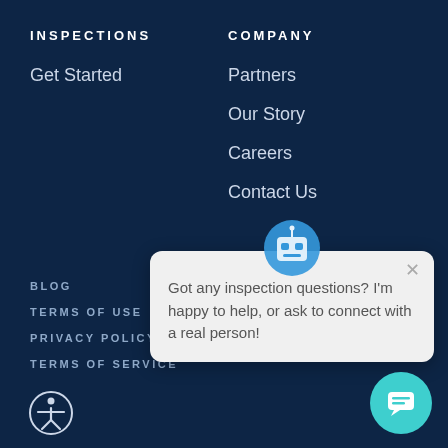INSPECTIONS
Get Started
COMPANY
Partners
Our Story
Careers
Contact Us
BLOG
TERMS OF USE
PRIVACY POLICY
TERMS OF SERVICE
[Figure (illustration): Accessibility icon (person in circle)]
[Figure (illustration): Chat widget popup with robot avatar and message: Got any inspection questions? I'm happy to help, or ask to connect with a real person!]
Got any inspection questions? I'm happy to help, or ask to connect with a real person!